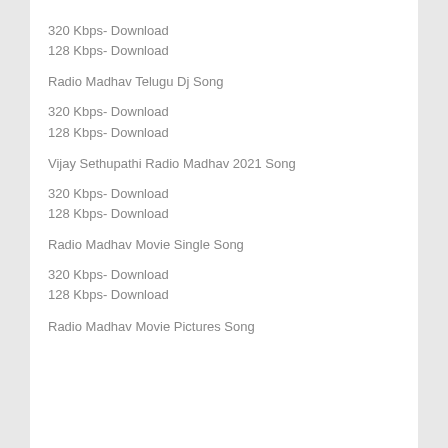320 Kbps- Download
128 Kbps- Download
Radio Madhav Telugu Dj Song
320 Kbps- Download
128 Kbps- Download
Vijay Sethupathi Radio Madhav 2021 Song
320 Kbps- Download
128 Kbps- Download
Radio Madhav Movie Single Song
320 Kbps- Download
128 Kbps- Download
Radio Madhav Movie Pictures Song